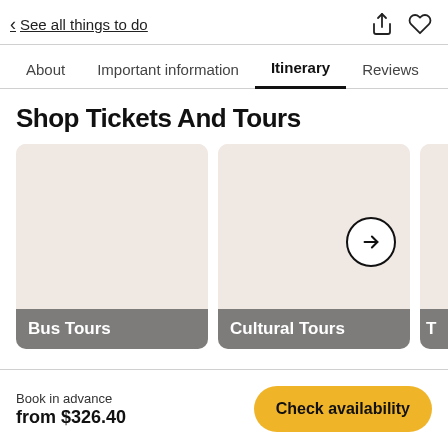< See all things to do
About  Important information  Itinerary  Reviews
Shop Tickets And Tours
[Figure (photo): Card showing Bus Tours category with beige/pink background]
[Figure (photo): Card showing Cultural Tours category with beige/pink background]
[Figure (photo): Partially visible third card]
Book in advance
from $326.40
Check availability